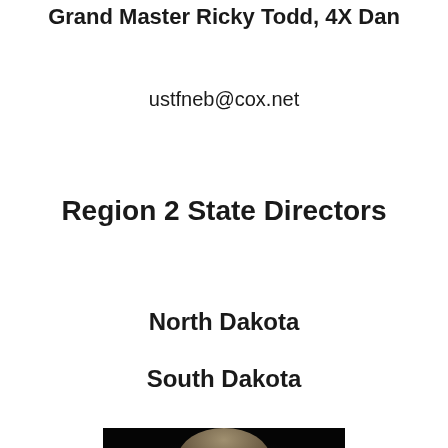Grand Master Ricky Todd, 4X Dan
ustfneb@cox.net
Region 2 State Directors
North Dakota
South Dakota
[Figure (photo): Portrait photo of a man with gray-brown hair against a dark background, cropped at the bottom of the page.]